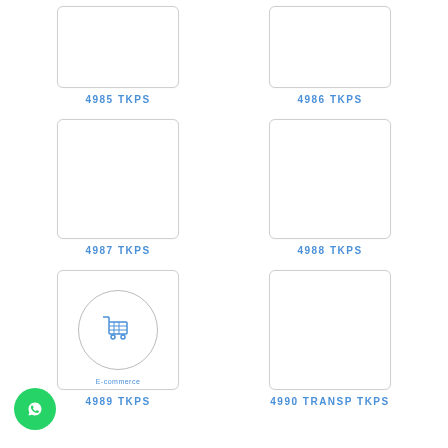[Figure (other): Empty product image box for item 4985 TKPS]
4985 TKPS
[Figure (other): Empty product image box for item 4986 TKPS]
4986 TKPS
[Figure (other): Empty product image box for item 4987 TKPS]
4987 TKPS
[Figure (other): Empty product image box for item 4988 TKPS]
4988 TKPS
[Figure (other): Product image box for item 4989 TKPS with e-commerce shopping cart icon inside a circle]
4989 TKPS
[Figure (other): Empty product image box for item 4990 TRANSP TKPS]
4990 TRANSP TKPS